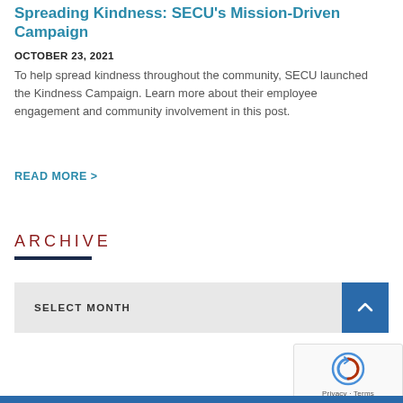Spreading Kindness: SECU's Mission-Driven Campaign
OCTOBER 23, 2021
To help spread kindness throughout the community, SECU launched the Kindness Campaign. Learn more about their employee engagement and community involvement in this post.
READ MORE >
ARCHIVE
SELECT MONTH
[Figure (screenshot): reCAPTCHA widget with Privacy and Terms links]